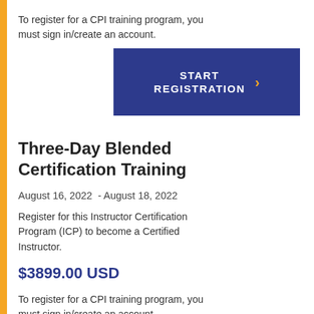To register for a CPI training program, you must sign in/create an account.
[Figure (other): Dark blue button with white bold text 'START REGISTRATION' and an orange right-chevron arrow]
Three-Day Blended Certification Training
August 16, 2022  -  August 18, 2022
Register for this Instructor Certification Program (ICP) to become a Certified Instructor.
$3899.00 USD
To register for a CPI training program, you must sign in/create an account.